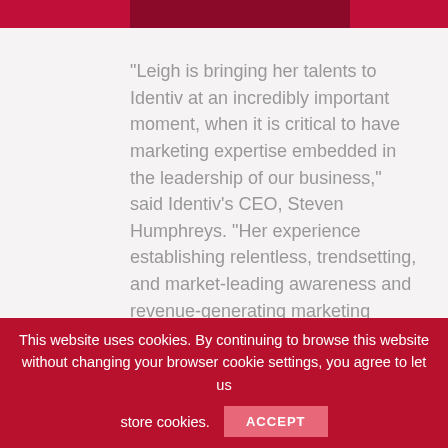“Leigh is bringing her talents to Identiv at an incredibly important moment, when it is critical to have marketing expertise embedded in the leadership of our business,” said Identiv’s CEO, Steven Humphreys. “Her experience establishing relentless, trendsetting, and market-leading awareness and revenue-generating marketing programs will be a significant asset to our business. Her domain experience with tech leaders like Honeywell and Intel, and her knowledge of the challenges faced by government and corporate markets, make her the ideal candidate to lead our marketing initiatives.”
This website uses cookies. By continuing to browse this website without changing your browser cookie settings, you agree to let us store cookies.